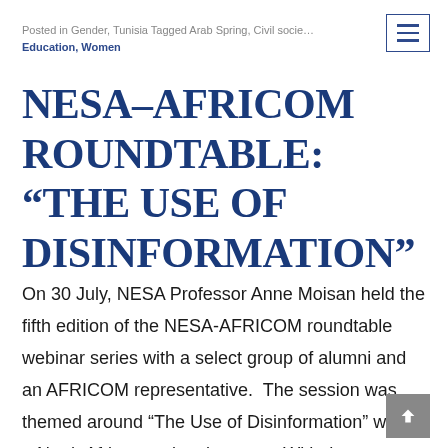Posted in Gender, Tunisia Tagged Arab Spring, Civil society, Education, Women
NESA–AFRICOM ROUNDTABLE: “THE USE OF DISINFORMATION”
On 30 July, NESA Professor Anne Moisan held the fifth edition of the NESA-AFRICOM roundtable webinar series with a select group of alumni and an AFRICOM representative.  The session was themed around “The Use of Disinformation” within a North African regional context. With the